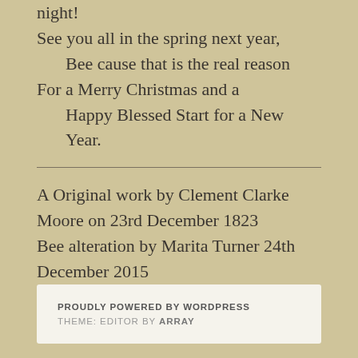MERRY CHRISTMAS to all, and to all a good winter night!
See you all in the spring next year,
    Bee cause that is the real reason
For a Merry Christmas and a
    Happy Blessed Start for a New Year.
A Original work by Clement Clarke Moore on 23rd December 1823
Bee alteration by Marita Turner 24th December 2015
[jetpack_subscription_form]
PROUDLY POWERED BY WORDPRESS
THEME: EDITOR BY ARRAY